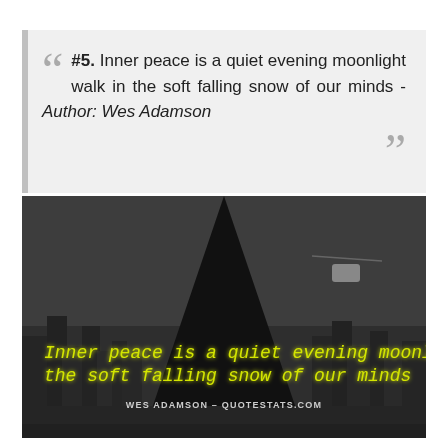#5. Inner peace is a quiet evening moonlight walk in the soft falling snow of our minds - Author: Wes Adamson
[Figure (photo): Dark cityscape photo at night with a large triangular dark shadow/beam pointing downward from the top center, city buildings visible in the background. Yellow neon-style italic text overlaid reads: 'Inner peace is a quiet evening moonlight walk in the soft falling snow of our minds'. Below the quote: 'WES ADAMSON - QUOTESTATS.COM' in white uppercase small text.]